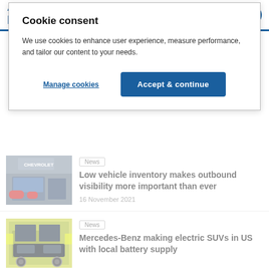Automotive LOGISTICS
Cookie consent
We use cookies to enhance user experience, measure performance, and tailor our content to your needs.
Manage cookies | Accept & continue
News
Low vehicle inventory makes outbound visibility more important than ever
16 November 2021
News
Mercedes-Benz making electric SUVs in US with local battery supply